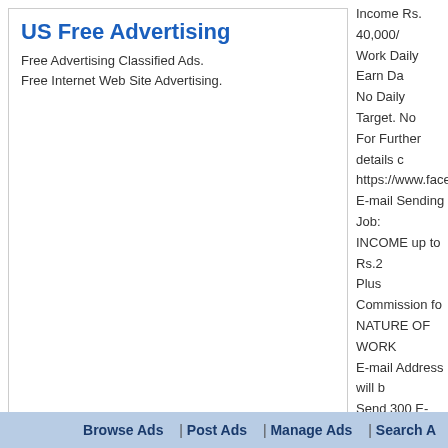[Figure (other): US Free Advertising banner ad box with title and description text]
Income Rs. 40,000/... Work Daily Earn Da... No Daily Target. No... For Further details c... https://www.facebo... E-mail Sending Job... INCOME up to Rs.2... Plus Commission fo... NATURE OF WORK... E-mail Address will b... Send 300 E-mails
Target Nation: All Nations
Target City : Bengaluru
Last Update : 20 November 2021 8:42 AM
Number of Views: 189
Friendly reminder: Avoid scams and fraud o...
UKFreeAds > Jobs > Full Time Jobs > Item ID 1078275
© 2022 UKFreeAds.ws
USNetAds.com | GetJob.us | CANetAds.com | UKAdsList.com | AUNetAds.com | INNe...
2022-08-31 (0.5...)
Browse Ads | Post Ads | Manage Ads | Search A...